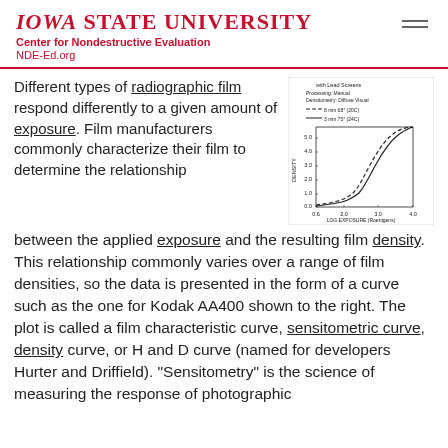IOWA STATE UNIVERSITY
Center for Nondestructive Evaluation
NDE-Ed.org
Different types of radiographic film respond differently to a given amount of exposure. Film manufacturers commonly characterize their film to determine the relationship between the applied exposure and the resulting film density. This relationship commonly varies over a range of film densities, so the data is presented in the form of a curve such as the one for Kodak AA400 shown to the right. The plot is called a film characteristic curve, sensitometric curve, density curve, or H and D curve (named for developers Hurter and Driffield). "Sensitometry" is the science of measuring the response of photographic
[Figure (continuous-plot): Film characteristic curve (H&D curve) for Kodak AA400 with lead screens. Shows DENSITY (y-axis, 0.0 to 6.0) vs LOG EXPOSURE in Roentgens (x-axis, 0.6 to 4.0). Two curves shown: dashed line for 8 min 68F (20C) and solid line for 3 min 75F (24C). Curves show typical sigmoid/exponential shape rising steeply from low to high density.]